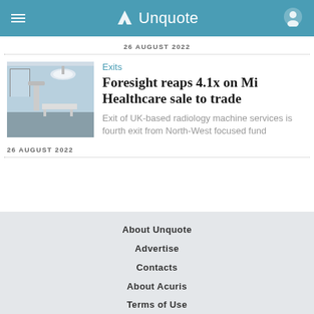Unquote
26 AUGUST 2022
Exits
Foresight reaps 4.1x on Mi Healthcare sale to trade
Exit of UK-based radiology machine services is fourth exit from North-West focused fund
26 AUGUST 2022
About Unquote
Advertise
Contacts
About Acuris
Terms of Use